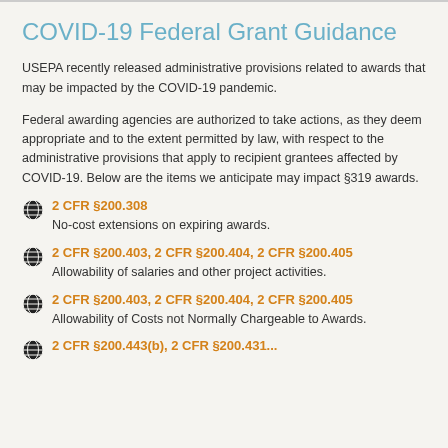COVID-19 Federal Grant Guidance
USEPA recently released administrative provisions related to awards that may be impacted by the COVID-19 pandemic.
Federal awarding agencies are authorized to take actions, as they deem appropriate and to the extent permitted by law, with respect to the administrative provisions that apply to recipient grantees affected by COVID-19. Below are the items we anticipate may impact §319 awards.
2 CFR §200.308
No-cost extensions on expiring awards.
2 CFR §200.403, 2 CFR §200.404, 2 CFR §200.405
Allowability of salaries and other project activities.
2 CFR §200.403, 2 CFR §200.404, 2 CFR §200.405
Allowability of Costs not Normally Chargeable to Awards.
2 CFR §200.443(b), 2 CFR §200.431...